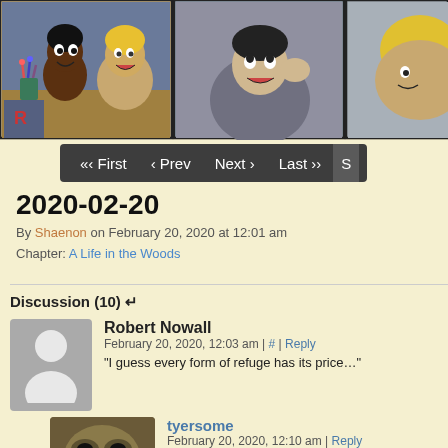[Figure (illustration): Comic strip showing three panels: first panel has two characters at a desk with art supplies, second panel shows a character in gray clothing looking up, third panel is partially cropped showing another character.]
[Figure (screenshot): Navigation bar with dark background showing: << First, < Prev, Next >, Last >> navigation links]
2020-02-20
By Shaenon on February 20, 2020 at 12:01 am
Chapter: A Life in the Woods
Discussion (10) ↵
Robert Nowall
February 20, 2020, 12:03 am | # | Reply
"I guess every form of refuge has its price…"
tyersome
February 20, 2020, 12:10 am | Reply
You have an Eagle's eye for a relevant lyric …